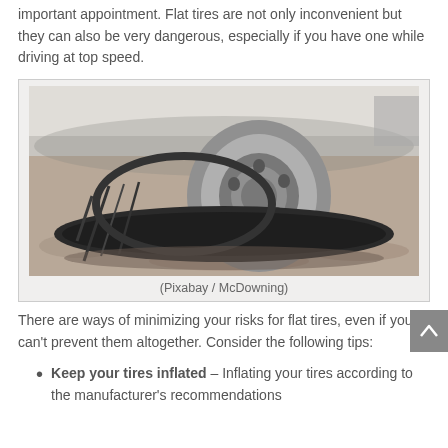important appointment. Flat tires are not only inconvenient but they can also be very dangerous, especially if you have one while driving at top speed.
[Figure (photo): Close-up photo of a flat tire on a vehicle, with the tire rim visible, sitting on a gravelly surface. The tire tread is visible and deflated.]
(Pixabay / McDowning)
There are ways of minimizing your risks for flat tires, even if you can't prevent them altogether. Consider the following tips:
Keep your tires inflated – Inflating your tires according to the manufacturer's recommendations